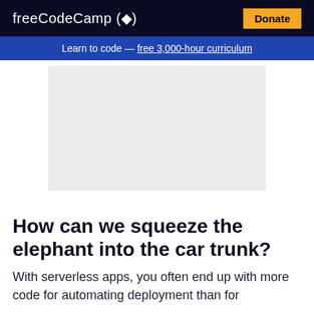freeCodeCamp(🔥) Donate
Learn to code — free 3,000-hour curriculum
[Figure (other): Gray rectangular advertisement placeholder area]
How can we squeeze the elephant into the car trunk?
With serverless apps, you often end up with more code for automating deployment than for